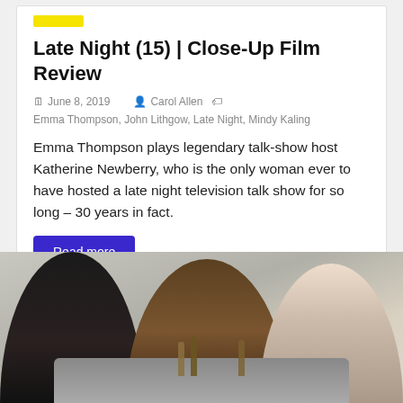Late Night (15) | Close-Up Film Review
June 8, 2019   Carol Allen   Emma Thompson, John Lithgow, Late Night, Mindy Kaling
Emma Thompson plays legendary talk-show host Katherine Newberry, who is the only woman ever to have hosted a late night television talk show for so long – 30 years in fact.
Read more
[Figure (photo): Three people (two men and a woman) sitting at a table with beer bottles, in conversation. Scene appears to be from a film.]